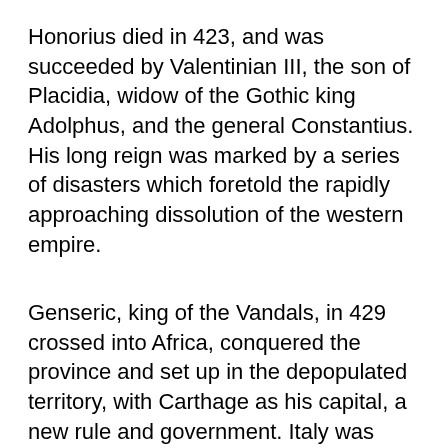Honorius died in 423, and was succeeded by Valentinian III, the son of Placidia, widow of the Gothic king Adolphus, and the general Constantius. His long reign was marked by a series of disasters which foretold the rapidly approaching dissolution of the western empire.
Genseric, king of the Vandals, in 429 crossed into Africa, conquered the province and set up in the depopulated territory, with Carthage as his capital, a new rule and government. Italy was filled with fugitives from Africa, and a barbarian race, which had issued from the frozen regions of the north,